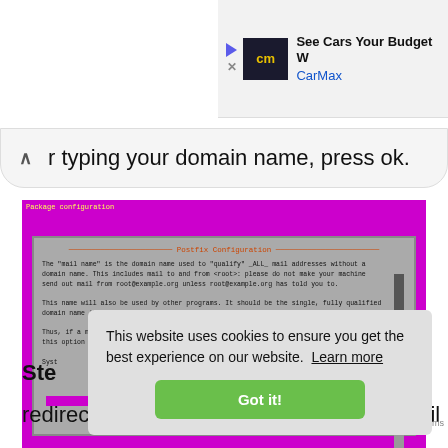[Figure (screenshot): CarMax advertisement banner showing logo and 'See Cars Your Budget W... CarMax' text with play and close icons]
r typing your domain name, press ok.
[Figure (screenshot): Terminal screenshot showing Postfix Configuration dialog on a magenta/purple background with gray dialog box containing text about mail name configuration]
This website uses cookies to ensure you get the best experience on our website. Learn more
Got it!
Ste
redirected to the Root and Postmaster Mail